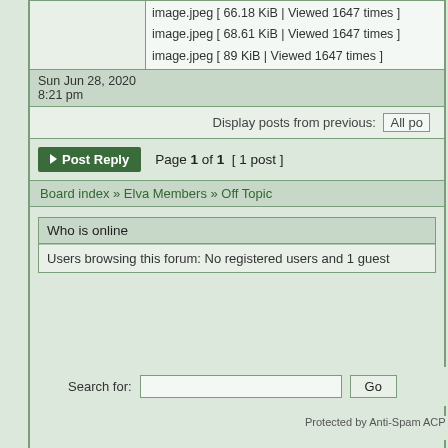image.jpeg [ 66.18 KiB | Viewed 1647 times ]
image.jpeg [ 68.61 KiB | Viewed 1647 times ]
image.jpeg [ 89 KiB | Viewed 1647 times ]
Sun Jun 28, 2020 8:21 pm
Display posts from previous:  All po
Page 1 of 1  [ 1 post ]
Board index » Elva Members » Off Topic
Who is online
Users browsing this forum: No registered users and 1 guest
Search for:
Protected by Anti-Spam ACP Powe De